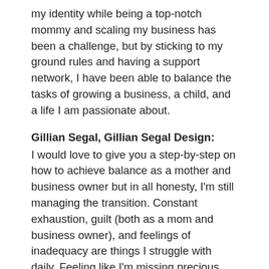my identity while being a top-notch mommy and scaling my business has been a challenge, but by sticking to my ground rules and having a support network, I have been able to balance the tasks of growing a business, a child, and a life I am passionate about.
Gillian Segal, Gillian Segal Design:
I would love to give you a step-by-step on how to achieve balance as a mother and business owner but in all honesty, I'm still managing the transition. Constant exhaustion, guilt (both as a mom and business owner), and feelings of inadequacy are things I struggle with daily. Feeling like I'm missing precious moments at home, or feeling frustrated that I don't have more time for work tasks is a huge challenge. The only thing that has gotten me through this is an incredible support system both at home and at work (and a lot of wine). But seriously, at home, this means my husband, our nanny, our parents, friends, and family members – it seriously does take a village. At work, I am so fortunate to have an incredible team of women who support me